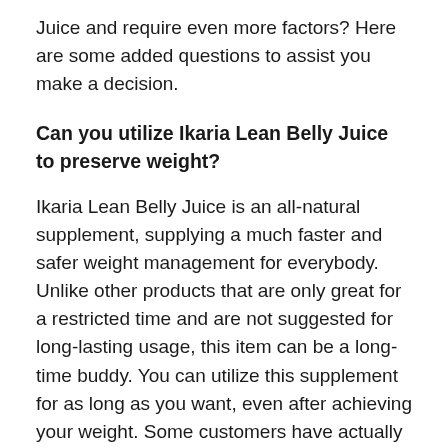Juice and require even more factors? Here are some added questions to assist you make a decision.
Can you utilize Ikaria Lean Belly Juice to preserve weight?
Ikaria Lean Belly Juice is an all-natural supplement, supplying a much faster and safer weight management for everybody. Unlike other products that are only great for a restricted time and are not suggested for long-lasting usage, this item can be a long-time buddy. You can utilize this supplement for as long as you want, even after achieving your weight. Some customers have actually been utilizing it to preserve their weight, and also it is